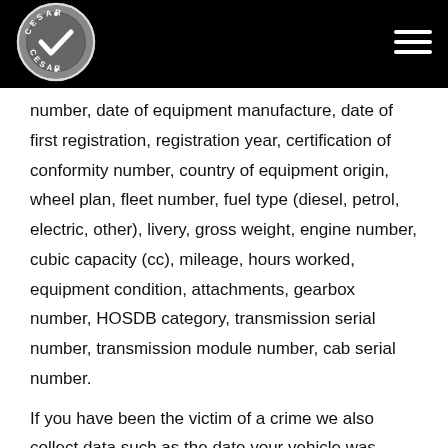[Figure (logo): CESAR circular logo in white on black background, with checkmark and text 'CESAR' around the circle]
number, date of equipment manufacture, date of first registration, registration year, certification of conformity number, country of equipment origin, wheel plan, fleet number, fuel type (diesel, petrol, electric, other), livery, gross weight, engine number, cubic capacity (cc), mileage, hours worked, equipment condition, attachments, gearbox number, HOSDB category, transmission serial number, transmission module number, cab serial number.
If you have been the victim of a crime we also collect data such as the date your vehicle was stolen, crime reference number and the police station at which the